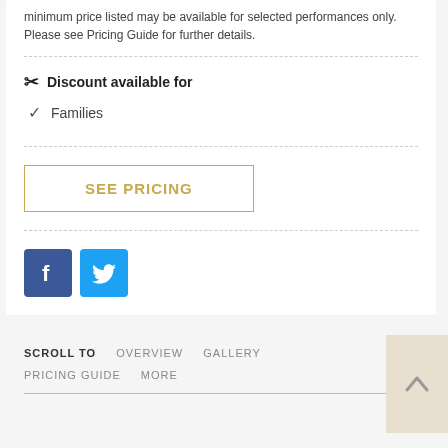minimum price listed may be available for selected performances only. Please see Pricing Guide for further details.
✂ Discount available for
✓ Families
SEE PRICING
[Figure (logo): Facebook and Twitter social media icons]
SCROLL TO   OVERVIEW   GALLERY   PRICING GUIDE   MORE